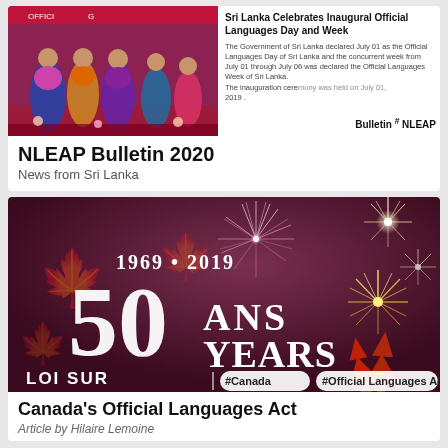[Figure (photo): Photo of women in colorful traditional dress performing on a stage with red backdrop and event signage]
Sri Lanka Celebrates Inaugural Official Languages Day and Week
The Government of Sri Lanka declared July 01 as the Official Languages Day of Sri Lanka and the concurrent week from July 01 through July 06 was declared the Official Languages Week of Sri Lanka. The inauguration ceremony was held on July 01, 2019.
Bulletin  #  NLEAP
NLEAP Bulletin 2020
News from Sri Lanka
[Figure (illustration): Anniversary banner with dark maroon/purple background showing '1969 • 2019', '50 ANS YEARS', 'LOI SUR' text with fireworks and maple leaf decorations, plus hashtag tags '#Canada' and '#Official Languages Act']
Canada's Official Languages Act
Article by Hilaire Lemoine